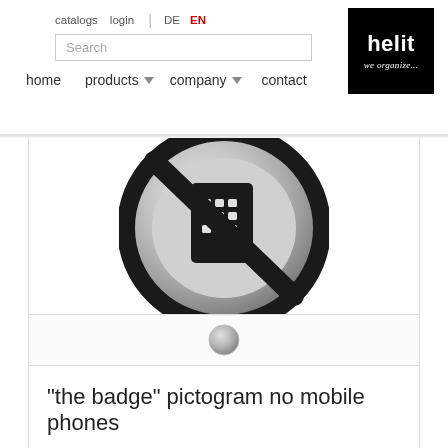catalogs  login | DE  EN
[Figure (screenshot): Helit logo - black square with white bold text 'helit' and italic script 'we organize...' below]
[Figure (photo): Metallic circular badge/sign with no mobile phones pictogram - black prohibition circle with diagonal line over a keypad/grid icon on brushed steel background]
[Figure (photo): Small circular metallic thumbnail of the same no-mobile-phones badge]
"the badge" pictogram no mobile phones